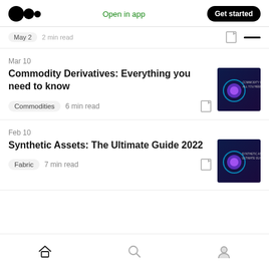Medium logo | Open in app | Get started
May 2 · 2 min read
Mar 10
Commodity Derivatives: Everything you need to know
Commodities  6 min read
[Figure (photo): Article thumbnail for Commodity Derivatives article with dark blue/purple background and circular graphic]
Feb 10
Synthetic Assets: The Ultimate Guide 2022
Fabric  7 min read
[Figure (photo): Article thumbnail for Synthetic Assets article with dark blue/purple background, reading SYNTHETIC ASSETS ULTIMATE GUIDE]
Home | Search | Profile